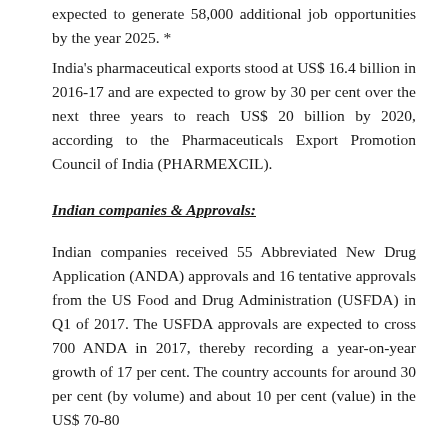expected to generate 58,000 additional job opportunities by the year 2025. *
India's pharmaceutical exports stood at US$ 16.4 billion in 2016-17 and are expected to grow by 30 per cent over the next three years to reach US$ 20 billion by 2020, according to the Pharmaceuticals Export Promotion Council of India (PHARMEXCIL).
Indian companies & Approvals:
Indian companies received 55 Abbreviated New Drug Application (ANDA) approvals and 16 tentative approvals from the US Food and Drug Administration (USFDA) in Q1 of 2017. The USFDA approvals are expected to cross 700 ANDA in 2017, thereby recording a year-on-year growth of 17 per cent. The country accounts for around 30 per cent (by volume) and about 10 per cent (value) in the US$ 70-80